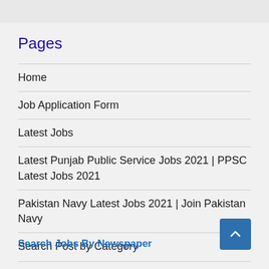Pages
Home
Job Application Form
Latest Jobs
Latest Punjab Public Service Jobs 2021 | PPSC Latest Jobs 2021
Pakistan Navy Latest Jobs 2021 | Join Pakistan Navy
Search Post by Category
Search Jobs By Newspaper